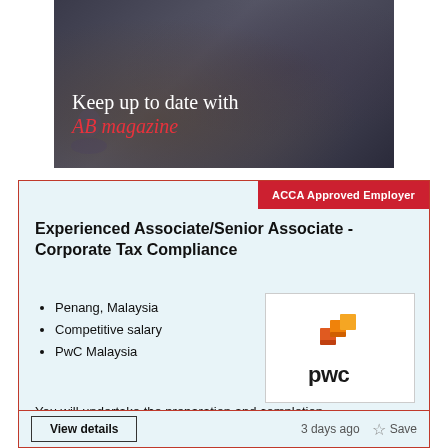[Figure (photo): AB magazine promotional banner with people in office setting. Text reads 'Keep up to date with AB magazine' on a dark background.]
ACCA Approved Employer
Experienced Associate/Senior Associate - Corporate Tax Compliance
Penang, Malaysia
Competitive salary
PwC Malaysia
[Figure (logo): PwC logo - orange/amber stacked cubes above the text 'pwc' in black]
You will undertake the preparation and completion...
3 days ago
Save